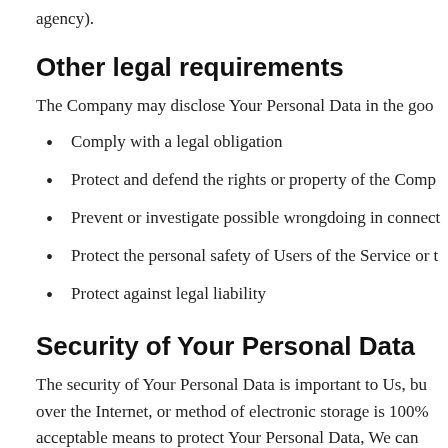agency).
Other legal requirements
The Company may disclose Your Personal Data in the goo
Comply with a legal obligation
Protect and defend the rights or property of the Comp
Prevent or investigate possible wrongdoing in connect
Protect the personal safety of Users of the Service or t
Protect against legal liability
Security of Your Personal Data
The security of Your Personal Data is important to Us, bu over the Internet, or method of electronic storage is 100% acceptable means to protect Your Personal Data, We can